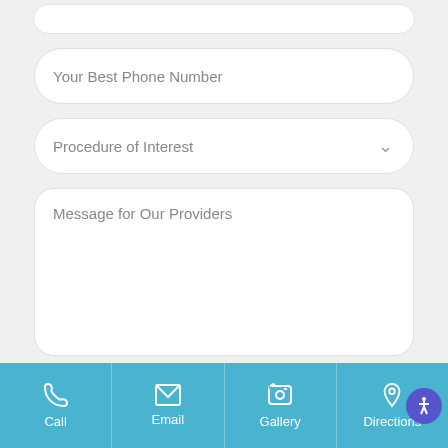[Figure (screenshot): Partially visible rounded input field at top of page (cut off)]
Your Best Phone Number
Procedure of Interest
Message for Our Providers
SUBMIT
Call | Email | Gallery | Directions